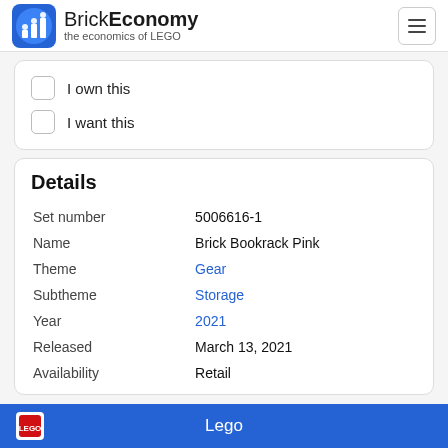BrickEconomy — the economics of LEGO
I own this
I want this
Details
| Field | Value |
| --- | --- |
| Set number | 5006616-1 |
| Name | Brick Bookrack Pink |
| Theme | Gear |
| Subtheme | Storage |
| Year | 2021 |
| Released | March 13, 2021 |
| Availability | Retail |
Lego